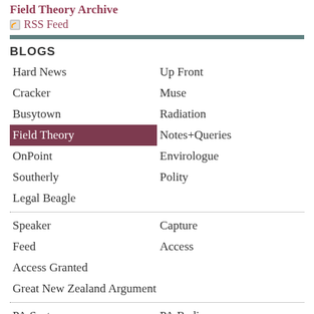Field Theory Archive
RSS Feed
BLOGS
Hard News
Up Front
Cracker
Muse
Busytown
Radiation
Field Theory
Notes+Queries
OnPoint
Envirologue
Southerly
Polity
Legal Beagle
Speaker
Capture
Feed
Access
Access Granted
Great New Zealand Argument
PA.System
PA.Radio
SEARCH